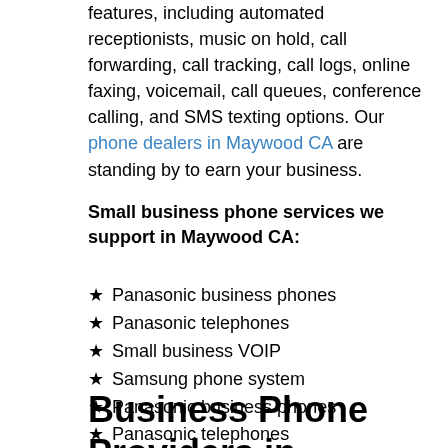features, including automated receptionists, music on hold, call forwarding, call tracking, call logs, online faxing, voicemail, call queues, conference calling, and SMS texting options. Our phone dealers in Maywood CA are standing by to earn your business.
Small business phone services we support in Maywood CA:
Panasonic business phones
Panasonic telephones
Small business VOIP
Samsung phone system
Panasonic business phones
Panasonic telephones
NEC phone systems
Business Phone Providers in Maywood CA